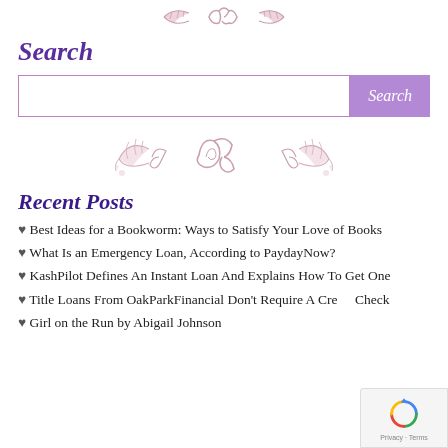[Figure (illustration): Decorative floral/scroll ornament in pink/mauve at top of page]
Search
[Figure (illustration): Search input field with purple Search button]
[Figure (illustration): Decorative floral/scroll ornament in pink/mauve in middle of page]
Recent Posts
♥ Best Ideas for a Bookworm: Ways to Satisfy Your Love of Books
♥ What Is an Emergency Loan, According to PaydayNow?
♥ KashPilot Defines An Instant Loan And Explains How To Get One
♥ Title Loans From OakParkFinancial Don't Require A Credit Check
♥ Girl on the Run by Abigail Johnson